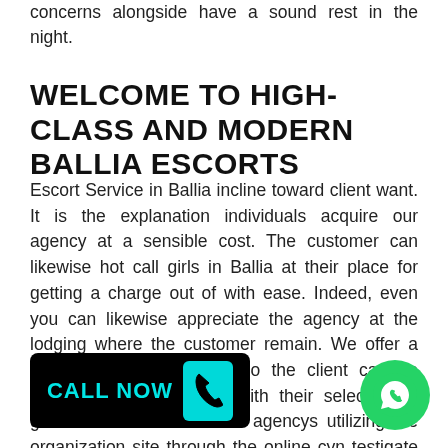concerns alongside have a sound rest in the night.
WELCOME TO HIGH-CLASS AND MODERN BALLIA ESCORTS
Escort Service in Ballia incline toward client want. It is the explanation individuals acquire our agency at a sensible cost. The customer can likewise hot call girls in Ballia at their place for getting a charge out of with ease. Indeed, even you can likewise appreciate the agency at the lodging where the customer remain. We offer a wide scope of call girls so the client can go through the entire night with their selection of girls. You can book escort agencys utilizing the organization site through the online cy n t estigate an assortm f d hs and we offer a similar a ent can need to reliable help.
[Figure (other): CALL NOW button overlay with phone icon in cyan on black background]
[Figure (other): WhatsApp green circle icon overlay at bottom right]